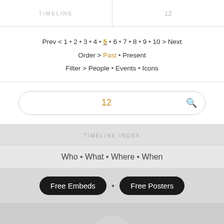TIMELINE | 12
Prev < 1 • 2 • 3 • 4 • 5 • 6 • 7 • 8 • 9 • 10 > Next
Order > Past • Present
Filter > People • Events • Icons
12
TIMELINE INDEX
Who • What • Where • When
Free Embeds • Free Posters
SIGNUP